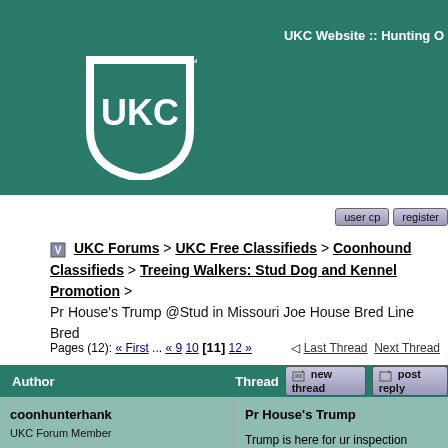UKC Website :: Hunting O
[Figure (logo): UKC shield logo in white on teal background]
user cp   register
UKC Forums > UKC Free Classifieds > Coonhound Classifieds > Treeing Walkers: Stud Dog and Kennel Promotion > Pr House's Trump @Stud in Missouri Joe House Bred Line Bred
Pages (12): « First ... « 9 10 [11] 12 »   Last Thread   Next Thread
Author   Thread  new thread  post reply
coonhunterhank
UKC Forum Member

Registered: Mar 2006
Location: summersvillemissouri
Posts: 1283
Pr House's Trump

Trump is here for ur inspection
Come for a hunt anytime.
Nothing hide

J&N Kennels Home of House Bred Treeing Walkers Proud to serve God.
JD Mattison 417 247 9832

Nathan Berry 417 247 1670
Home of
Pr House's Trump @ stud 300$ Ukc